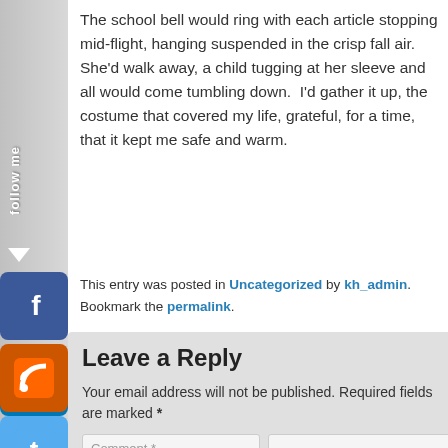The school bell would ring with each article stopping mid-flight, hanging suspended in the crisp fall air. She'd walk away, a child tugging at her sleeve and all would come tumbling down.  I'd gather it up, the costume that covered my life, grateful, for a time, that it kept me safe and warm.
This entry was posted in Uncategorized by kh_admin. Bookmark the permalink.
Leave a Reply
Your email address will not be published. Required fields are marked *